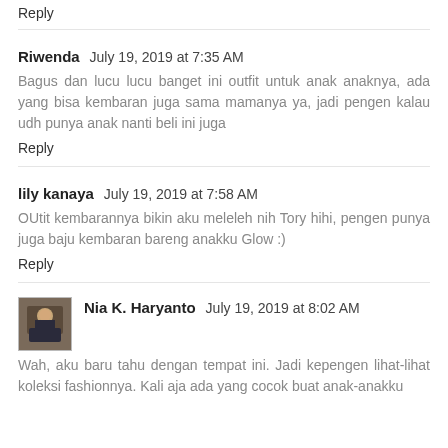Reply
Riwenda  July 19, 2019 at 7:35 AM
Bagus dan lucu lucu banget ini outfit untuk anak anaknya, ada yang bisa kembaran juga sama mamanya ya, jadi pengen kalau udh punya anak nanti beli ini juga
Reply
lily kanaya  July 19, 2019 at 7:58 AM
OUtit kembarannya bikin aku meleleh nih Tory hihi, pengen punya juga baju kembaran bareng anakku Glow :)
Reply
Nia K. Haryanto  July 19, 2019 at 8:02 AM
Wah, aku baru tahu dengan tempat ini. Jadi kepengen lihat-lihat koleksi fashionnya. Kali aja ada yang cocok buat anak-anakku